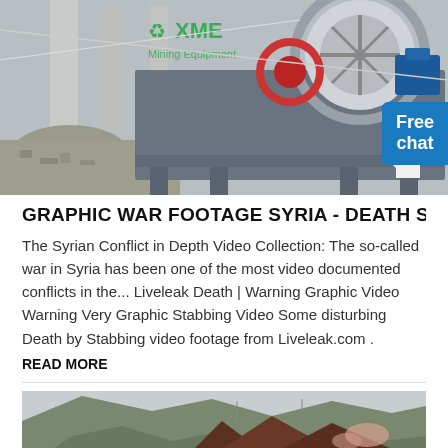[Figure (photo): Industrial sand washing machine with large wheel mechanism, set against a backdrop of concrete structures and rubble. XME Mining Equipment logo visible in green.]
GRAPHIC WAR FOOTAGE SYRIA - DEATH SHOT VIDEO
The Syrian Conflict in Depth Video Collection: The so-called war in Syria has been one of the most video documented conflicts in the... Liveleak Death | Warning Graphic Video Warning Very Graphic Stabbing Video Some disturbing Death by Stabbing video footage from Liveleak.com .
READ MORE
[Figure (photo): Mountainous landscape with tents or tarps visible in the foreground, rocky terrain.]